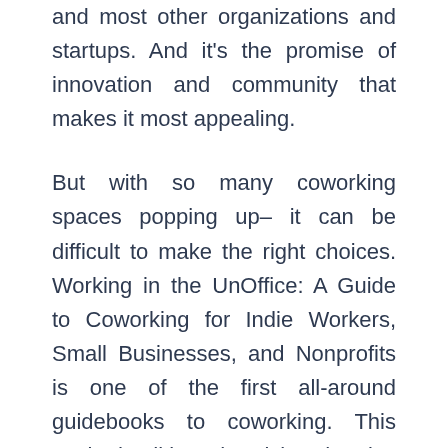and most other organizations and startups. And it's the promise of innovation and community that makes it most appealing.
But with so many coworking spaces popping up– it can be difficult to make the right choices. Working in the UnOffice: A Guide to Coworking for Indie Workers, Small Businesses, and Nonprofits is one of the first all-around guidebooks to coworking. This packed edition chronicles the rise of coworking and the social and economic trends making it possible.
Readers learn how to find and select the perfect space and master the art of